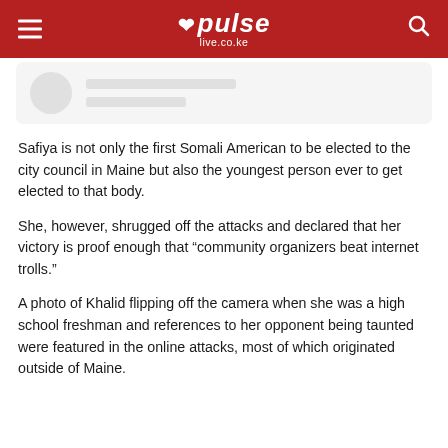pulse live.co.ke
[Figure (photo): Partial image showing a profile photo placeholder and loading skeleton lines on a light gray card background]
Safiya is not only the first Somali American to be elected to the city council in Maine but also the youngest person ever to get elected to that body.
She, however, shrugged off the attacks and declared that her victory is proof enough that “community organizers beat internet trolls.”
A photo of Khalid flipping off the camera when she was a high school freshman and references to her opponent being taunted were featured in the online attacks, most of which originated outside of Maine.